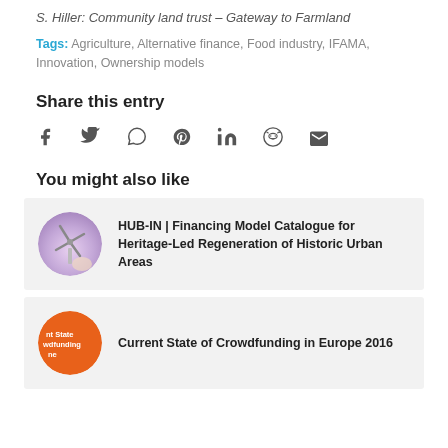S. Hiller: Community land trust – Gateway to Farmland
Tags: Agriculture, Alternative finance, Food industry, IFAMA, Innovation, Ownership models
Share this entry
[Figure (infographic): Social share icons: Facebook, Twitter, WhatsApp, Pinterest, LinkedIn, Reddit, Email]
You might also like
[Figure (illustration): Circular thumbnail of a windmill against a purple-pink gradient sky]
HUB-IN | Financing Model Catalogue for Heritage-Led Regeneration of Historic Urban Areas
[Figure (illustration): Orange circular badge with white text: Current State of Crowdfunding in Europe]
Current State of Crowdfunding in Europe 2016